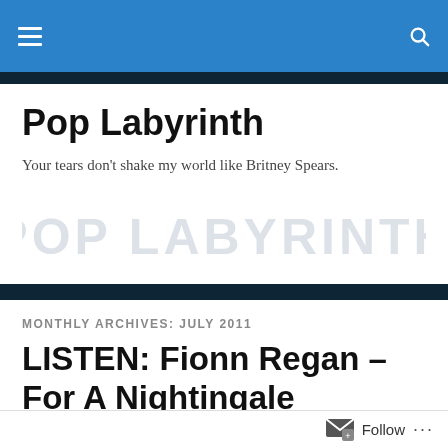Pop Labyrinth – navigation bar with hamburger menu and search icon
Pop Labyrinth
Your tears don't shake my world like Britney Spears.
[Figure (other): Large light grey watermark text reading POP LABYRINTH]
MONTHLY ARCHIVES: JULY 2011
LISTEN: Fionn Regan – For A Nightingale
Follow ...